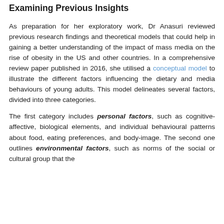Examining Previous Insights
As preparation for her exploratory work, Dr Anasuri reviewed previous research findings and theoretical models that could help in gaining a better understanding of the impact of mass media on the rise of obesity in the US and other countries. In a comprehensive review paper published in 2016, she utilised a conceptual model to illustrate the different factors influencing the dietary and media behaviours of young adults. This model delineates several factors, divided into three categories.
The first category includes personal factors, such as cognitive-affective, biological elements, and individual behavioural patterns about food, eating preferences, and body-image. The second one outlines environmental factors, such as norms of the social or cultural group that the